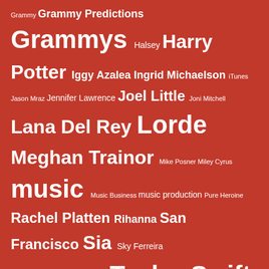[Figure (other): Tag cloud with various music and entertainment related tags in different font sizes on a red background. Tags include: Grammy, Grammy Predictions, Grammys, Halsey, Harry Potter, Iggy Azalea, Ingrid Michaelson, iTunes, Jason Mraz, Jennifer Lawrence, Joel Little, Joni Mitchell, Lana Del Rey, Lorde, Meghan Trainor, Mike Posner, Miley Cyrus, music, Music Business, music production, Pure Heroine, Rachel Platten, Rihanna, San Francisco, Sia, Sky Ferreira, StoryTime, Taylor Swift, the Chainsmokers, Veep]
AUGUST 2022
| S | M | T | W | T | F | S |
| --- | --- | --- | --- | --- | --- | --- |
|  | 1 | 2 | 3 | 4 | 5 | 6 |
| 7 | 8 | 9 | 10 | 11 | 12 | 13 |
| 14 | 15 | 16 | 17 | 18 | 19 | 20 |
| 21 | 22 | 23 | 24 | 25 | 26 | 27 |
| 28 | 29 | 30 | 31 |  |  |  |